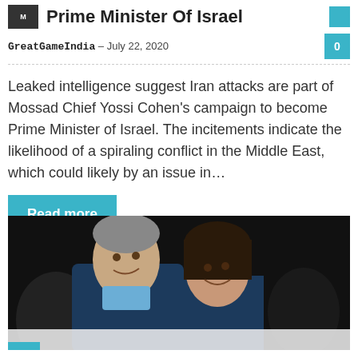Prime Minister Of Israel
GreatGameIndia – July 22, 2020
Leaked intelligence suggest Iran attacks are part of Mossad Chief Yossi Cohen's campaign to become Prime Minister of Israel. The incitements indicate the likelihood of a spiraling conflict in the Middle East, which could likely by an issue in…
Read more
[Figure (photo): Photograph of two people embracing at what appears to be a social event, dark background]